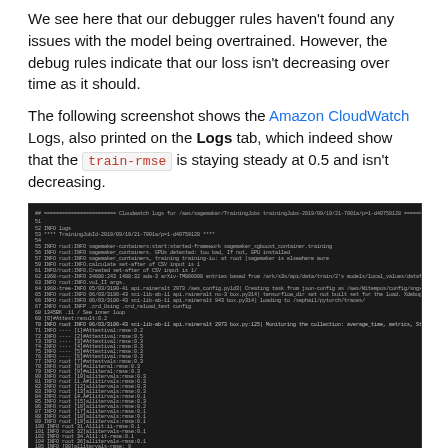We see here that our debugger rules haven't found any issues with the model being overtrained. However, the debug rules indicate that our loss isn't decreasing over time as it should.
The following screenshot shows the Amazon CloudWatch Logs, also printed on the Logs tab, which indeed show that the train-rmse is staying steady at 0.5 and isn't decreasing.
[Figure (screenshot): Dark-themed terminal/CloudWatch Logs output showing lines of log entries. Each line begins with a line number and INFO log level, followed by timestamps and metric output. Many lines show 'train-rmse=0.5' repeated, indicating the metric is not decreasing.]